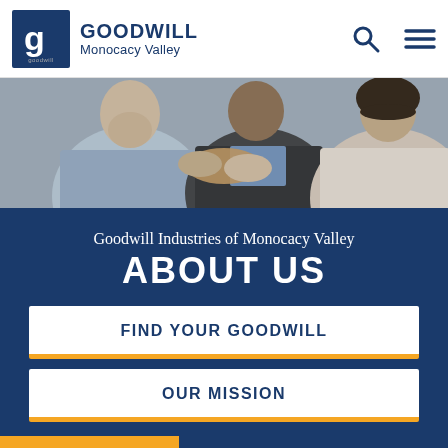[Figure (logo): Goodwill Monocacy Valley logo with blue square containing a stylized G and text 'GOODWILL Monocacy Valley']
[Figure (photo): People shaking hands in an office or workplace setting, showing collaboration or partnership]
Goodwill Industries of Monocacy Valley
ABOUT US
FIND YOUR GOODWILL
OUR MISSION